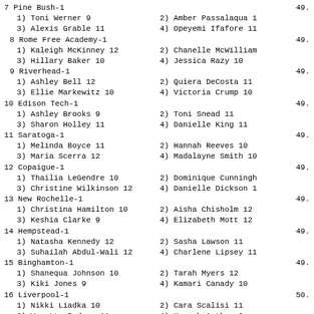7 Pine Bush-1
1) Toni Werner 9
3) Alexis Grable 11
8 Rome Free Academy-1
1) Kaleigh McKinney 12
3) Hillary Baker 10
9 Riverhead-1
1) Ashley Bell 12
3) Ellie Markewitz 10
10 Edison Tech-1
1) Ashley Brooks 9
3) Sharon Holley 11
11 Saratoga-1
1) Melinda Boyce 11
3) Maria Scerra 12
12 Copaigue-1
1) Thailia LeGendre 10
3) Christine Wilkinson 12
13 New Rochelle-1
1) Christina Hamilton 10
3) Keshia Clarke 9
14 Hempstead-1
1) Natasha Kennedy 12
3) Suhailah Abdul-Wali 12
15 Binghamton-1
1) Shanequa Johnson 10
3) Kiki Jones 9
16 Liverpool-1
1) Nikki Liadka 10
3) Wanetta Rodney 11
17 Elmira Southside-1
1) Shatima Brown 9
3) Lindsey Seymour 9
18 Aquinas Institute-1
49.
2) Amber Passalaqua 1
4) Opeyemi Ifafore 11
49.
2) Chanelle McWilliam
4) Jessica Razy 10
49.
2) Quiera DeCosta 11
4) Victoria Crump 10
49.
2) Toni Snead 11
4) Danielle King 11
49.
2) Hannah Reeves 10
4) Madalayne Smith 10
49.
2) Dominique Cunningh
4) Danielle Dickson 1
49.
2) Aisha Chisholm 12
4) Elizabeth Mott 12
49.
2) Sasha Lawson 11
4) Charlene Lipsey 11
49.
2) Tarah Myers 12
4) Kamari Canady 10
50.
2) Cara Scalisi 11
4) Hannah Anthes 9
50.
2) Taylor Pierson 8
4) Emily Buck 9
50.